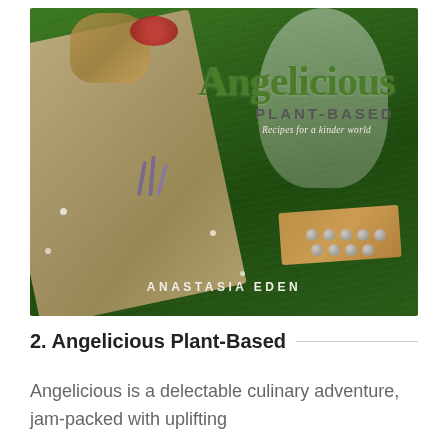[Figure (photo): Book cover of 'Angelicious Plant-Based: Recipes for a kinder world' by Anastasia Eden. Shows an aerial view of a woman sitting on green grass with a wicker basket of food, a burlap cloth, lavender flowers, and a wooden board with small round energy balls/truffles. The title 'Angelicious' is in large olive green text, 'PLANT-BASED' in dark grey caps, and 'Recipes for a kinder world' in white italic. Author name 'ANASTASIA EDEN' appears at the bottom center.]
2. Angelicious Plant-Based
Angelicious is a delectable culinary adventure, jam-packed with uplifting